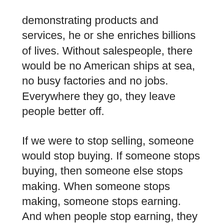demonstrating products and services, he or she enriches billions of lives. Without salespeople, there would be no American ships at sea, no busy factories and no jobs. Everywhere they go, they leave people better off.
If we were to stop selling, someone would stop buying. If someone stops buying, then someone else stops making. When someone stops making, someone stops earning. And when people stop earning, they stop buying.
So you see, as a salesperson, you are very important to the productivity and success of this country. In addition to that, nothing happens for your company until you sell a home or a home site in your community. When you do, everyone — from the stockholders, to the president, to the support staff, to your own customer — benefits from your